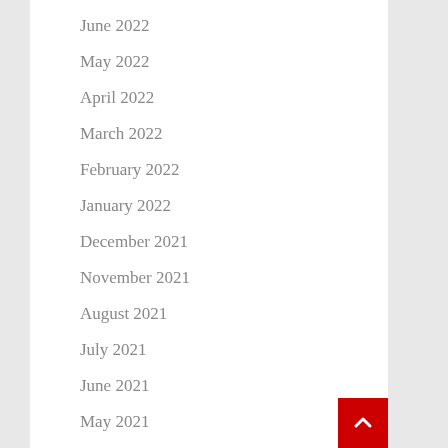June 2022
May 2022
April 2022
March 2022
February 2022
January 2022
December 2021
November 2021
August 2021
July 2021
June 2021
May 2021